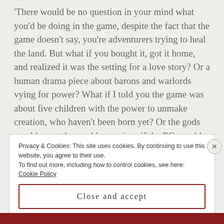'There would be no question in your mind what you'd be doing in the game, despite the fact that the game doesn't say, you're adventurers trying to heal the land. But what if you bought it, got it home, and realized it was the setting for a love story? Or a human drama piece about barons and warlords vying for power? What if I told you the game was about five children with the power to unmake creation, who haven't been born yet? Or the gods would grant the world a reprieve if the PCs could only decide which of them should die?
Privacy & Cookies: This site uses cookies. By continuing to use this website, you agree to their use. To find out more, including how to control cookies, see here: Cookie Policy
Close and accept